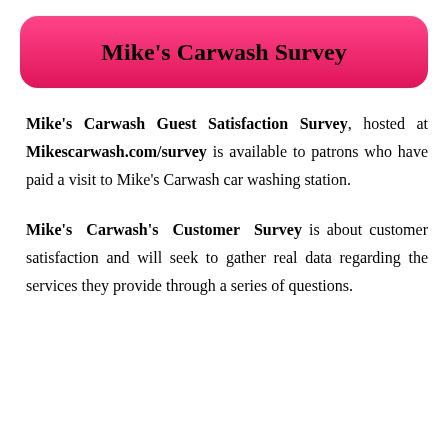Mike's Carwash Survey
Mike's Carwash Guest Satisfaction Survey, hosted at Mikescarwash.com/survey is available to patrons who have paid a visit to Mike's Carwash car washing station.
Mike's Carwash's Customer Survey is about customer satisfaction and will seek to gather real data regarding the services they provide through a series of questions.